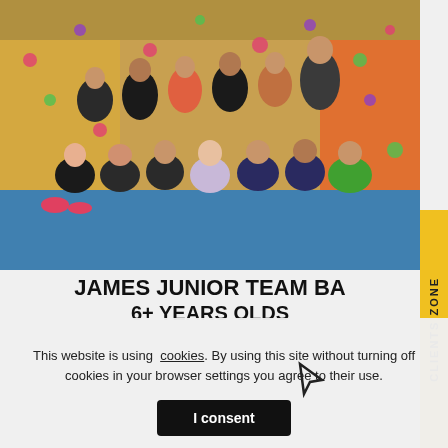[Figure (photo): Group photo of children and a coach/adult at an indoor climbing wall facility. Kids are seated on a blue floor mat in front of a yellow climbing wall with colorful holds. Some wear black t-shirts. A yellow 'CLIENTS ZONE' vertical tab is visible on the right side.]
JAMES JUNIOR TEAM BA
6+ YEARS OLDS
This website is using cookies. By using this site without turning off cookies in your browser settings you agree to their use.
I consent